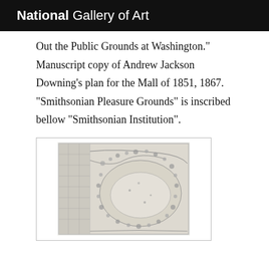National Gallery of Art
Out the Public Grounds at Washington." Manuscript copy of Andrew Jackson Downing's plan for the Mall of 1851, 1867. "Smithsonian Pleasure Grounds" is inscribed bellow "Smithsonian Institution".
[Figure (map): Manuscript map showing Andrew Jackson Downing's plan for the Mall of 1851, depicting the Smithsonian Pleasure Grounds layout with curved pathways, oval open areas, and tree plantings in a landscape design style.]